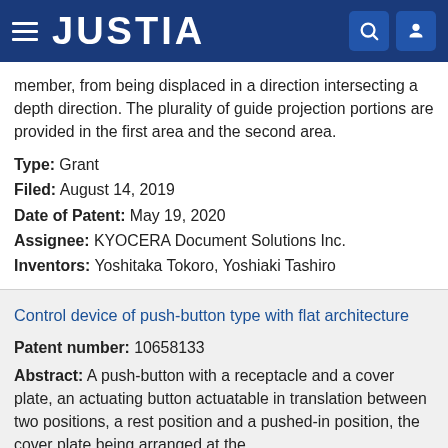JUSTIA
member, from being displaced in a direction intersecting a depth direction. The plurality of guide projection portions are provided in the first area and the second area.
Type: Grant
Filed: August 14, 2019
Date of Patent: May 19, 2020
Assignee: KYOCERA Document Solutions Inc.
Inventors: Yoshitaka Tokoro, Yoshiaki Tashiro
Control device of push-button type with flat architecture
Patent number: 10658133
Abstract: A push-button with a receptacle and a cover plate, an actuating button actuatable in translation between two positions, a rest position and a pushed-in position, the cover plate being arranged at the